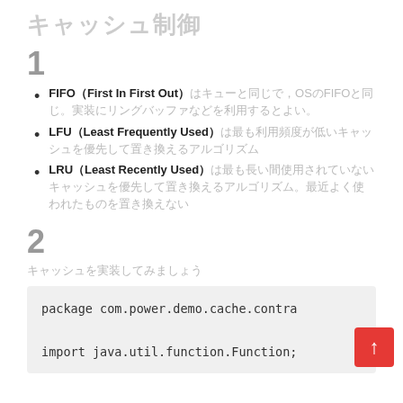キャッシュ制御
1
FIFO（First In First Out）はキューと同じで，OSのFIFOと同じ。実装にリングバッファなどを利用するとよい。
LFU（Least Frequently Used）は最も利用頻度が低いキャッシュを優先して置き換えるアルゴリズム
LRU（Least Recently Used）は最も長い間使用されていないキャッシュを優先して置き換えるアルゴリズム。最近よく使われたものを置き換えない
2
キャッシュを実装してみましょう
package com.power.demo.cache.contra

import java.util.function.Function;